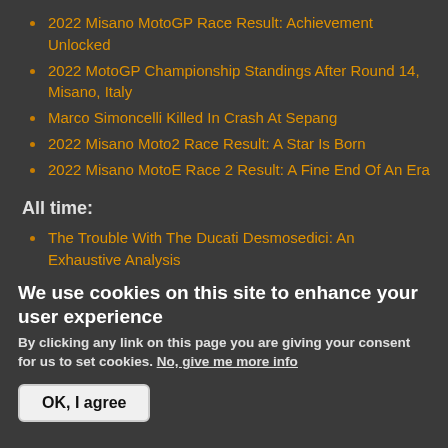2022 Misano MotoGP Race Result: Achievement Unlocked
2022 MotoGP Championship Standings After Round 14, Misano, Italy
Marco Simoncelli Killed In Crash At Sepang
2022 Misano Moto2 Race Result: A Star Is Born
2022 Misano MotoE Race 2 Result: A Fine End Of An Era
All time:
The Trouble With The Ducati Desmosedici: An Exhaustive Analysis
We use cookies on this site to enhance your user experience
By clicking any link on this page you are giving your consent for us to set cookies. No, give me more info
OK, I agree